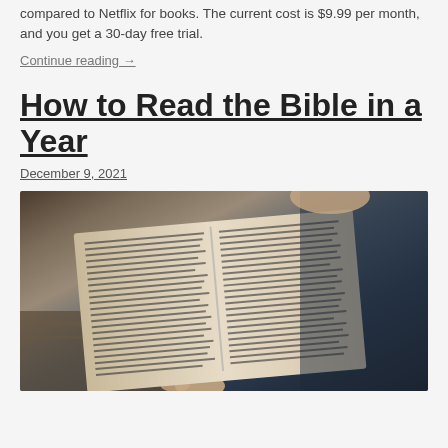compared to Netflix for books. The current cost is $9.99 per month, and you get a 30-day free trial.
Continue reading →
How to Read the Bible in a Year
December 9, 2021
[Figure (photo): Person holding open a Bible with dense text columns, photographed from above with a dark denim background]